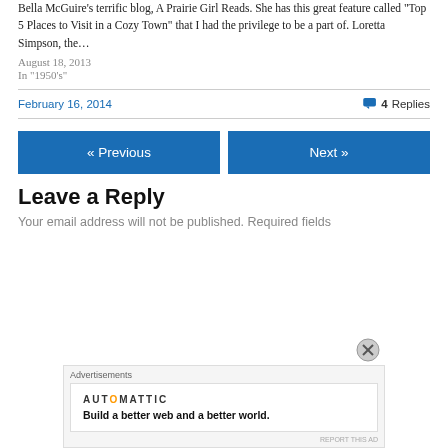Bella McGuire's terrific blog, A Prairie Girl Reads. She has this great feature called "Top 5 Places to Visit in a Cozy Town" that I had the privilege to be a part of. Loretta Simpson, the…
August 18, 2013
In "1950's"
February 16, 2014
4 Replies
« Previous
Next »
Leave a Reply
Your email address will not be published. Required fields
[Figure (other): Advertisement overlay showing Automattic logo and tagline 'Build a better web and a better world.']